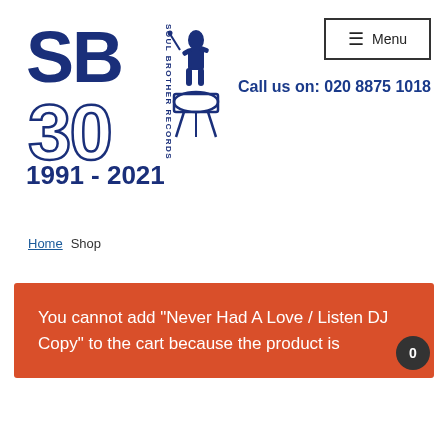[Figure (logo): Soul Brother Records 30th anniversary logo — SB large letters with 30, 1991-2021, and Soul Brother Records vertical text, with a musician silhouette graphic]
≡  Menu
Call us on: 020 8875 1018
Home  Shop
You cannot add "Never Had A Love / Listen DJ Copy" to the cart because the product is